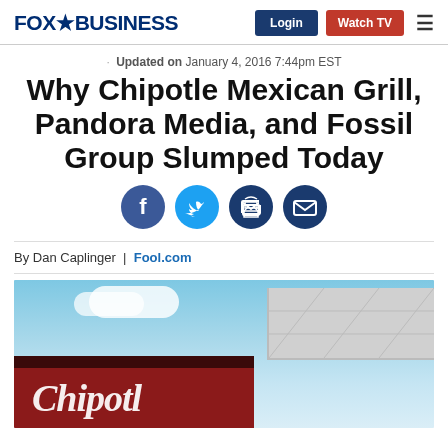FOX BUSINESS | Login | Watch TV
Updated on January 4, 2016 7:44pm EST
Why Chipotle Mexican Grill, Pandora Media, and Fossil Group Slumped Today
By Dan Caplinger | Fool.com
[Figure (photo): Exterior photo of a Chipotle Mexican Grill restaurant showing the dark red signage with white cursive text and building rooftop against a blue sky with clouds]